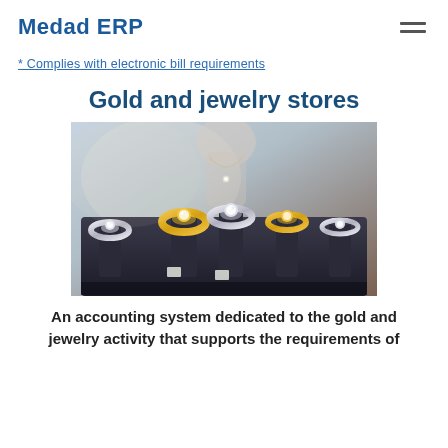Medad ERP
* Complies with electronic bill requirements
Gold and jewelry stores
[Figure (photo): Photo of gold and diamond jewelry rings displayed on dark velvet stands in a jewelry store, with a blurred necklace on a mannequin in the background.]
An accounting system dedicated to the gold and jewelry activity that supports the requirements of